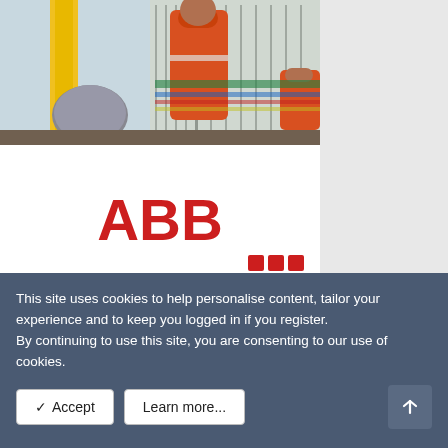[Figure (photo): Two workers in orange safety jumpsuits working on an industrial electrical panel/cable management system. Visible yellow structural supports and wiring harnesses.]
[Figure (logo): ABB logo in red with GET CONNECTED banner below on red background, with red dot-grid pattern decoration.]
This site uses cookies to help personalise content, tailor your experience and to keep you logged in if you register.
By continuing to use this site, you are consenting to our use of cookies.